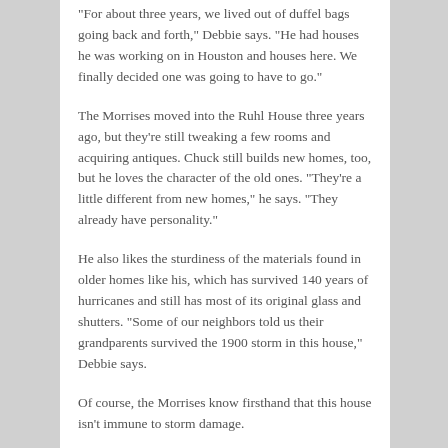“For about three years, we lived out of duffel bags going back and forth,” Debbie says. “He had houses he was working on in Houston and houses here. We finally decided one was going to have to go.”
The Morrises moved into the Ruhl House three years ago, but they’re still tweaking a few rooms and acquiring antiques. Chuck still builds new homes, too, but he loves the character of the old ones. “They’re a little different from new homes,” he says. “They already have personality.”
He also likes the sturdiness of the materials found in older homes like his, which has survived 140 years of hurricanes and still has most of its original glass and shutters. “Some of our neighbors told us their grandparents survived the 1900 storm in this house,” Debbie says.
Of course, the Morrises know firsthand that this house isn’t immune to storm damage.